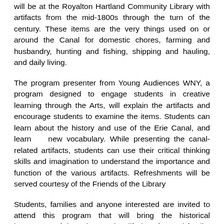will be at the Royalton Hartland Community Library with artifacts from the mid-1800s through the turn of the century. These items are the very things used on or around the Canal for domestic chores, farming and husbandry, hunting and fishing, shipping and hauling, and daily living.
The program presenter from Young Audiences WNY, a program designed to engage students in creative learning through the Arts, will explain the artifacts and encourage students to examine the items. Students can learn about the history and use of the Erie Canal, and learn new vocabulary. While presenting the canal-related artifacts, students can use their critical thinking skills and imagination to understand the importance and function of the various artifacts. Refreshments will be served courtesy of the Friends of the Library
Students, families and anyone interested are invited to attend this program that will bring the historical importance of the Erie Canal to life in a fun and family-friendly way.
The Erie Canal Traveling Museum program is being